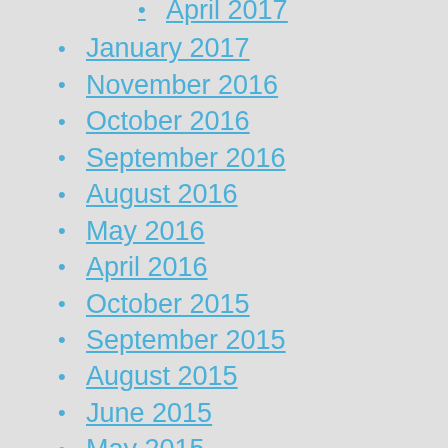April 2017
January 2017
November 2016
October 2016
September 2016
August 2016
May 2016
April 2016
October 2015
September 2015
August 2015
June 2015
May 2015
April 2015
March 2015
October 2014
August 2014
July 2014
June 2014
April 2014